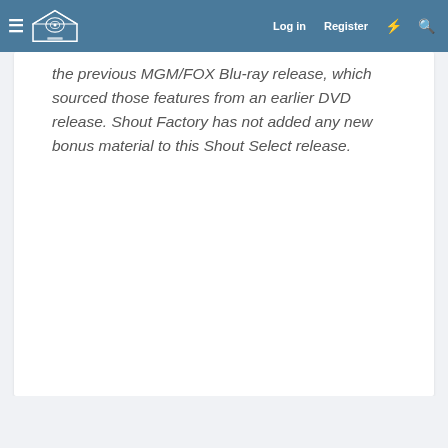Home Theater Forum — Log in | Register
the previous MGM/FOX Blu-ray release, which sourced those features from an earlier DVD release. Shout Factory has not added any new bonus material to this Shout Select release.